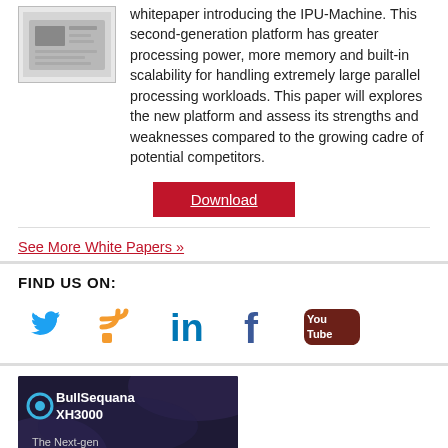[Figure (illustration): Thumbnail image of a whitepaper document cover showing a circuit board or hardware component.]
whitepaper introducing the IPU-Machine. This second-generation platform has greater processing power, more memory and built-in scalability for handling extremely large parallel processing workloads. This paper will explores the new platform and assess its strengths and weaknesses compared to the growing cadre of potential competitors.
Download
See More White Papers »
FIND US ON:
[Figure (infographic): Social media icons: Twitter (blue bird), RSS (orange), LinkedIn (blue 'in'), Facebook (blue 'f'), YouTube (brown/red YouTube logo)]
[Figure (illustration): BullSequana XH3000 product card with dark purple/navy background with swirling designs. Text reads: BullSequana XH3000, The Next-gen]